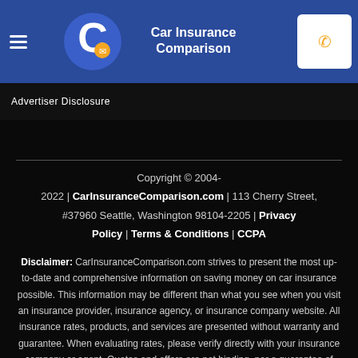[Figure (logo): Car Insurance Comparison logo with circular C icon and car/phone graphic in blue and white text]
Advertiser Disclosure
Copyright © 2004-2022 | CarInsuranceComparison.com | 113 Cherry Street, #37960 Seattle, Washington 98104-2205 | Privacy Policy | Terms & Conditions | CCPA
Disclaimer: CarInsuranceComparison.com strives to present the most up-to-date and comprehensive information on saving money on car insurance possible. This information may be different than what you see when you visit an insurance provider, insurance agency, or insurance company website. All insurance rates, products, and services are presented without warranty and guarantee. When evaluating rates, please verify directly with your insurance company or agent. Quotes and offers are not binding, nor a guarantee of coverage.